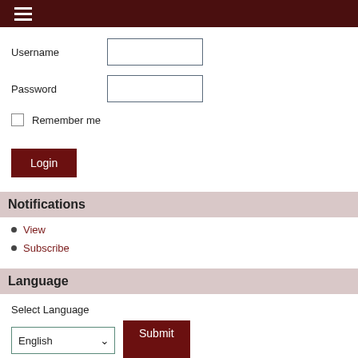Username
Password
Remember me
Login
Notifications
View
Subscribe
Language
Select Language
English
Submit
Journal Content